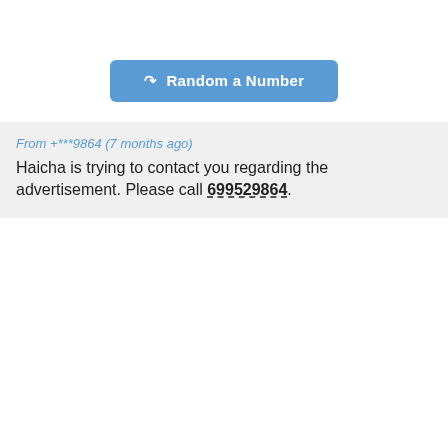[Figure (other): Button labeled 'Random a Number' with a refresh/reload icon, styled in blue with white text]
From +***9864 (7 months ago)
Haicha is trying to contact you regarding the advertisement. Please call 699529864.